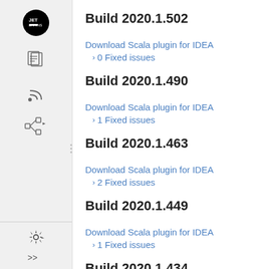Build 2020.1.502
Download Scala plugin for IDEA
0 Fixed issues
Build 2020.1.490
Download Scala plugin for IDEA
1 Fixed issues
Build 2020.1.463
Download Scala plugin for IDEA
2 Fixed issues
Build 2020.1.449
Download Scala plugin for IDEA
1 Fixed issues
Build 2020.1.434